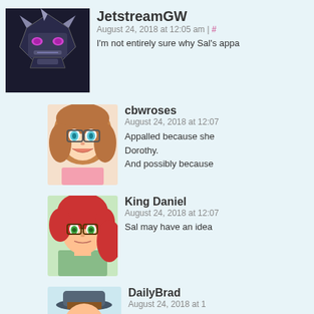[Figure (other): JetstreamGW avatar - Decepticon logo style robot face icon on dark background]
JetstreamGW
August 24, 2018 at 12:05 am | #
I'm not entirely sure why Sal's appa
[Figure (other): cbwroses avatar - anime style girl with brown hair and blue eyes, pink outfit]
cbwroses
August 24, 2018 at 12:07
Appalled because she... Dorothy.
And possibly because
[Figure (other): King Daniel avatar - anime style person with red hair and glasses, green shirt]
King Daniel
August 24, 2018 at 12:07
Sal may have an idea
[Figure (other): DailyBrad avatar - cartoon young man with dark hat, brown hair, smiling]
DailyBrad
August 24, 2018 at 1
She's barely intera... really make any s... so I doubt it. Wou... with that informati... and her do seem